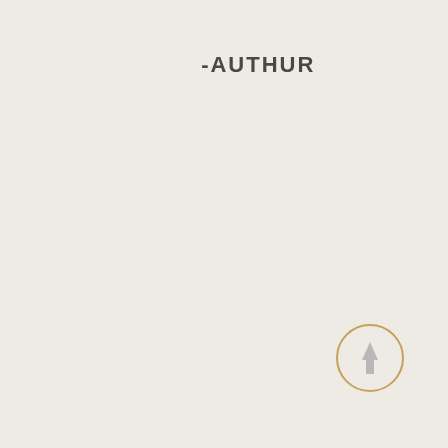-AUTHUR
[Figure (other): A circular button with a golden/amber outline and a light gray upward-pointing arrow in the center, positioned in the lower-right area of the page.]